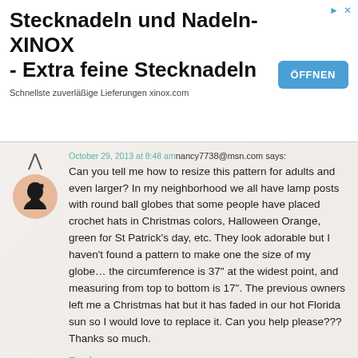[Figure (other): Advertisement banner for Stecknadeln und Nadeln-XINOX with ÖFFNEN button]
October 29, 2013 at 8:48 am nancy7738@msn.com says: Can you tell me how to resize this pattern for adults and even larger? In my neighborhood we all have lamp posts with round ball globes that some people have placed crochet hats in Christmas colors, Halloween Orange, green for St Patrick's day, etc. They look adorable but I haven't found a pattern to make one the size of my globe… the circumference is 37" at the widest point, and measuring from top to bottom is 17". The previous owners left me a Christmas hat but it has faded in our hot Florida sun so I would love to replace it. Can you help please??? Thanks so much.
Reply